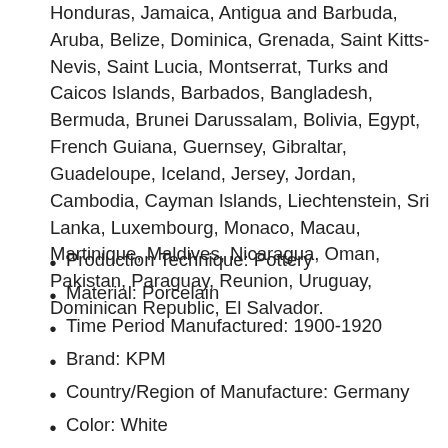Honduras, Jamaica, Antigua and Barbuda, Aruba, Belize, Dominica, Grenada, Saint Kitts-Nevis, Saint Lucia, Montserrat, Turks and Caicos Islands, Barbados, Bangladesh, Bermuda, Brunei Darussalam, Bolivia, Egypt, French Guiana, Guernsey, Gibraltar, Guadeloupe, Iceland, Jersey, Jordan, Cambodia, Cayman Islands, Liechtenstein, Sri Lanka, Luxembourg, Monaco, Macau, Martinique, Maldives, Nicaragua, Oman, Pakistan, Paraguay, Reunion, Uruguay, Dominican Republic, El Salvador.
Production Technique: Pottery
Material: Porcelain
Time Period Manufactured: 1900-1920
Brand: KPM
Country/Region of Manufacture: Germany
Color: White
Antique: Yes
Type: Plate
JP: O-8126
GO.XX: 04182022